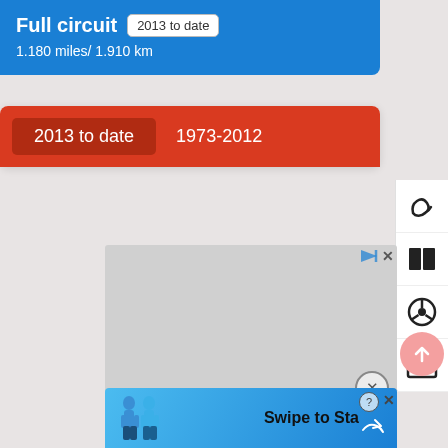Full circuit  2013 to date
1.180 miles/ 1.910 km
[Figure (screenshot): Red tab bar with '2013 to date' active tab and '1973-2012' inactive tab]
[Figure (screenshot): Right sidebar with circuit, book, steering wheel, and map navigation icons]
[Figure (screenshot): Grey advertisement placeholder area with play and close controls]
[Figure (screenshot): Pink scroll-to-top circular button with upward arrow]
[Figure (screenshot): Bottom banner advertisement with blue background, figures, and 'Swipe to Sta' text]